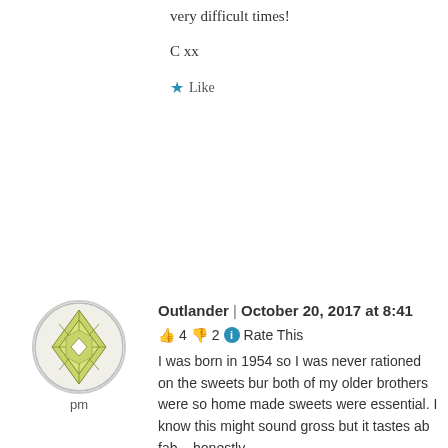very difficult times!
C xx
★ Like
Outlander | October 20, 2017 at 8:41 pm
👍 4 👎 2 ℹ Rate This
I was born in 1954 so I was never rationed on the sweets bur both of my older brothers were so home made sweets were essential. I know this might sound gross but it tastes ab fab – honestly.
Boil a potato (no salt, obviously) in it's jacket, drain the water off and allow the spud to steam until you can handle it to remove the skin. If you have a potato ricer you can rice the spud or alternatively mash then work in